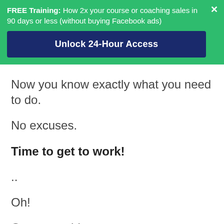FREE Training: How 2x your course or coaching sales in 90 days or less (without buying Facebook ads)
Unlock 24-Hour Access
Now you know exactly what you need to do.
No excuses.
Time to get to work!
..
Oh!
One more thing...